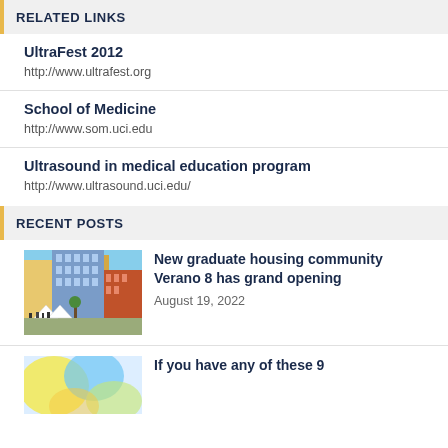RELATED LINKS
UltraFest 2012
http://www.ultrafest.org
School of Medicine
http://www.som.uci.edu
Ultrasound in medical education program
http://www.ultrasound.uci.edu/
RECENT POSTS
[Figure (photo): Photo of graduate housing building Verano 8 with people gathered outside under white tents]
New graduate housing community Verano 8 has grand opening
August 19, 2022
[Figure (photo): Partial photo, colorful abstract image]
If you have any of these 9